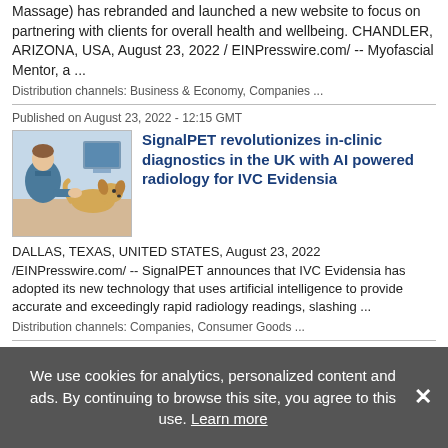Massage) has rebranded and launched a new website to focus on partnering with clients for overall health and wellbeing. CHANDLER, ARIZONA, USA, August 23, 2022 / EINPresswire.com/ -- Myofascial Mentor, a ...
Distribution channels: Business & Economy, Companies ...
Published on August 23, 2022 - 12:15 GMT
SignalPET revolutionizes in-clinic diagnostics in the UK with AI powered radiology for IVC Evidensia
[Figure (photo): Photo of a veterinarian examining a small dog (chihuahua) in a clinic setting with computer screens in background]
DALLAS, TEXAS, UNITED STATES, August 23, 2022 /EINPresswire.com/ -- SignalPET announces that IVC Evidensia has adopted its new technology that uses artificial intelligence to provide accurate and exceedingly rapid radiology readings, slashing ...
Distribution channels: Companies, Consumer Goods ...
Published on August 23, 2022 - 12:09 GMT
Embolotherapy
We use cookies for analytics, personalized content and ads. By continuing to browse this site, you agree to this use. Learn more